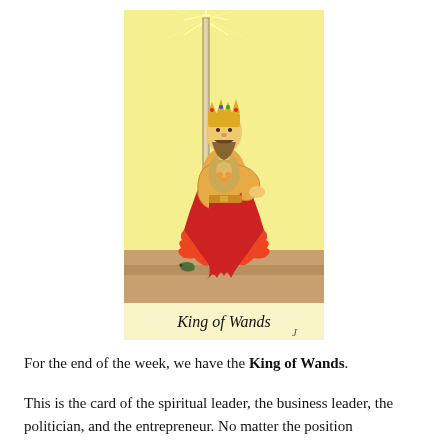[Figure (illustration): Tarot card illustration of the King of Wands. A crowned king stands holding a tall wand/staff with a glowing tip. He wears an elaborate red and orange robe with jagged flame-like edges and a decorated breastplate. He stands on a sandy/desert ground. The card is titled 'King of Wands' at the bottom in stylized script.]
For the end of the week, we have the King of Wands.
This is the card of the spiritual leader, the business leader, the politician, and the entrepreneur. No matter the position with the King of Wands, he is experienced and devotion...